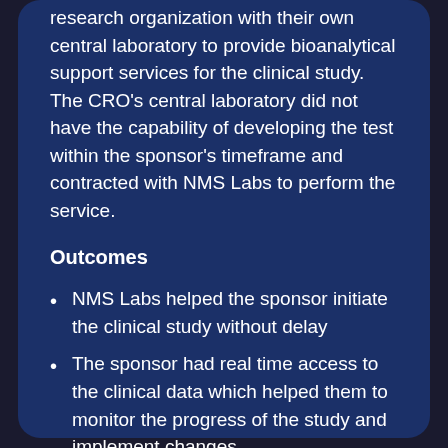research organization with their own central laboratory to provide bioanalytical support services for the clinical study. The CRO's central laboratory did not have the capability of developing the test within the sponsor's timeframe and contracted with NMS Labs to perform the service.
Outcomes
NMS Labs helped the sponsor initiate the clinical study without delay
The sponsor had real time access to the clinical data which helped them to monitor the progress of the study and implement changes